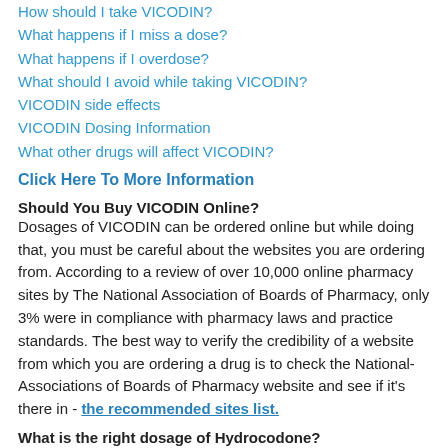How should I take VICODIN?
What happens if I miss a dose?
What happens if I overdose?
What should I avoid while taking VICODIN?
VICODIN side effects
VICODIN Dosing Information
What other drugs will affect VICODIN?
Click Here To More Information
Should You Buy VICODIN Online?
Dosages of VICODIN can be ordered online but while doing that, you must be careful about the websites you are ordering from. According to a review of over 10,000 online pharmacy sites by The National Association of Boards of Pharmacy, only 3% were in compliance with pharmacy laws and practice standards. The best way to verify the credibility of a website from which you are ordering a drug is to check the National-Associations of Boards of Pharmacy website and see if it's there in - the recommended sites list.
What is the right dosage of Hydrocodone?
However, the right dosage conveys under the indication of professional doctors. However, this medication contains some abusive symptoms.